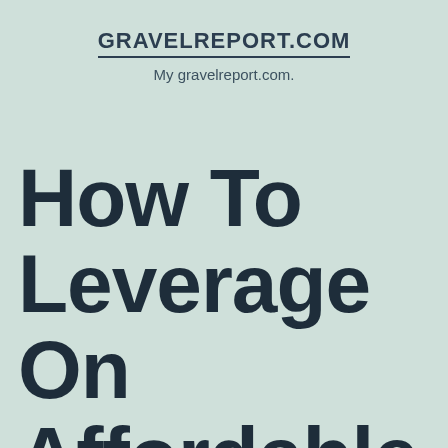GRAVELREPORT.COM
My gravelreport.com.
How To Leverage On Affordable College